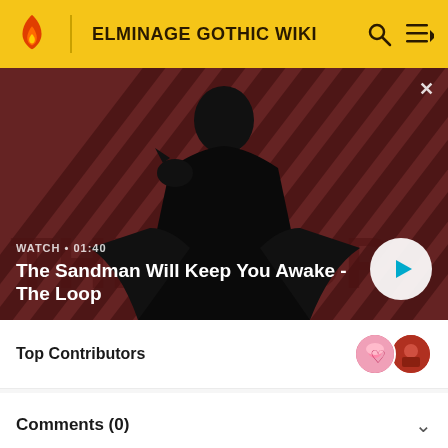ELMINAGE GOTHIC WIKI
[Figure (screenshot): Video thumbnail showing a dark-cloaked figure with a raven on shoulder against a red diagonal striped background. Title reads 'The Sandman Will Keep You Awake - The Loop'. Watch duration shown as 01:40. Play button visible.]
Top Contributors
Comments (0)
Categories